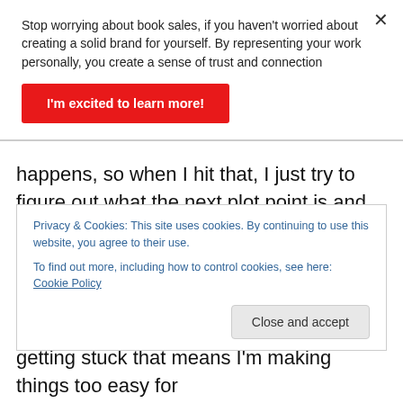Stop worrying about book sales, if you haven't worried about creating a solid brand for yourself. By representing your work personally, you create a sense of trust and connection
I'm excited to learn more!
happens, so when I hit that, I just try to figure out what the next plot point is and how to make that happen, regardless of if it feels right for it to happen right now in the overall arc. Every single time the pacing ends up being what it needs to be, so I'm careful not to include filler
Privacy & Cookies: This site uses cookies. By continuing to use this website, you agree to their use.
To find out more, including how to control cookies, see here: Cookie Policy
Close and accept
getting stuck that means I'm making things too easy for